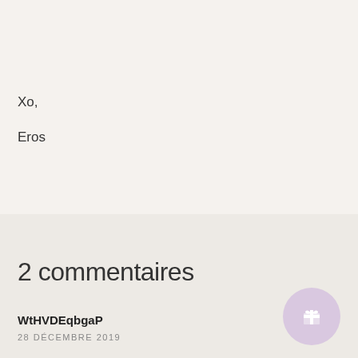Xo,
Eros
2 commentaires
WtHVDEqbgaP
28 DÉCEMBRE 2019